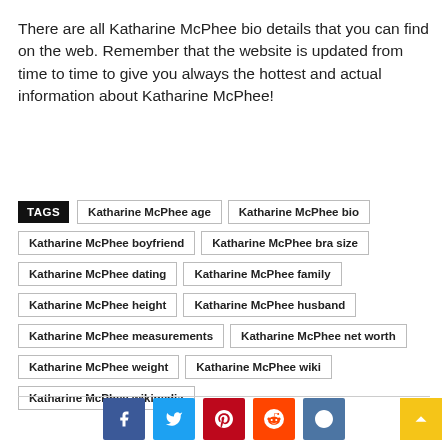There are all Katharine McPhee bio details that you can find on the web. Remember that the website is updated from time to time to give you always the hottest and actual information about Katharine McPhee!
TAGS | Katharine McPhee age | Katharine McPhee bio | Katharine McPhee boyfriend | Katharine McPhee bra size | Katharine McPhee dating | Katharine McPhee family | Katharine McPhee height | Katharine McPhee husband | Katharine McPhee measurements | Katharine McPhee net worth | Katharine McPhee weight | Katharine McPhee wiki | Katharine McPhee wikipedia
[Figure (other): Social media share buttons: Facebook, Twitter, Pinterest, Reddit, VK, and a scroll-to-top button]